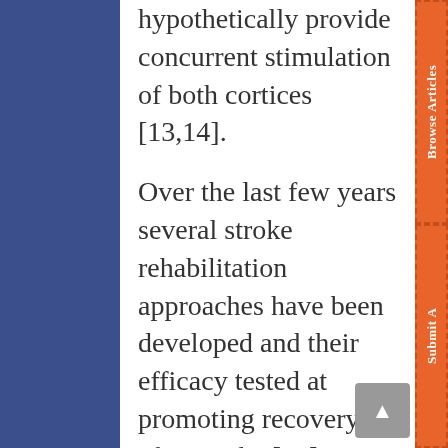hypothetically provide concurrent stimulation of both cortices [13,14].
Over the last few years several stroke rehabilitation approaches have been developed and their efficacy tested at promoting recovery after stroke [15]. Stroke rehabilitation